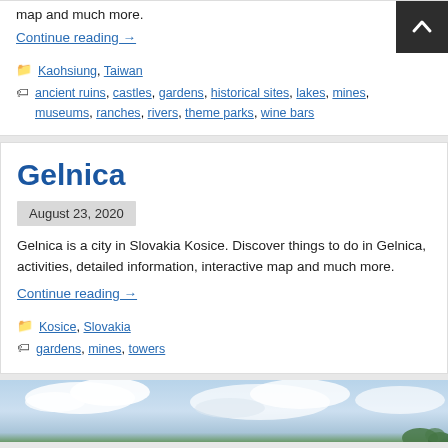map and much more.
Continue reading →
Kaohsiung, Taiwan
ancient ruins, castles, gardens, historical sites, lakes, mines, museums, ranches, rivers, theme parks, wine bars
Gelnica
August 23, 2020
Gelnica is a city in Slovakia Kosice. Discover things to do in Gelnica, activities, detailed information, interactive map and much more.
Continue reading →
Kosice, Slovakia
gardens, mines, towers
[Figure (photo): Sky with clouds and trees at bottom, outdoor landscape photo]